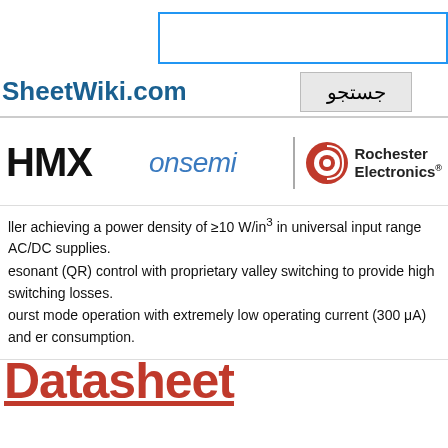[Figure (screenshot): Search bar with blue border at top of page]
جستجو
SheetWiki.com
[Figure (logo): HMX logo text in bold black]
[Figure (logo): onsemi logo in blue italic]
[Figure (logo): Rochester Electronics logo with red circular icon]
ller achieving a power density of ≥10 W/in³ in universal input range AC/DC supplies.
esonant (QR) control with proprietary valley switching to provide high switching losses.
ourst mode operation with extremely low operating current (300 μA) and er consumption.
Datasheet